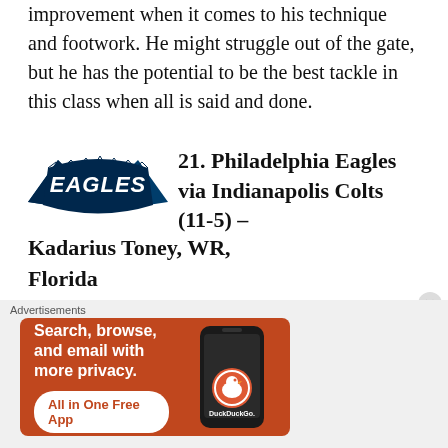improvement when it comes to his technique and footwork. He might struggle out of the gate, but he has the potential to be the best tackle in this class when all is said and done.
21. Philadelphia Eagles via Indianapolis Colts (11-5) – Kadarius Toney, WR, Florida
After taking a top-tier corner, the Eagles can find a new receiver to help turn this offense
[Figure (other): Advertisement banner for DuckDuckGo app: orange background, text 'Search, browse, and email with more privacy. All in One Free App', with phone mockup and DuckDuckGo logo]